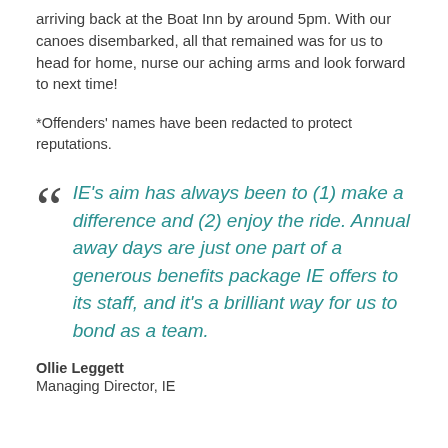arriving back at the Boat Inn by around 5pm. With our canoes disembarked, all that remained was for us to head for home, nurse our aching arms and look forward to next time!
*Offenders' names have been redacted to protect reputations.
IE's aim has always been to (1) make a difference and (2) enjoy the ride. Annual away days are just one part of a generous benefits package IE offers to its staff, and it's a brilliant way for us to bond as a team.
Ollie Leggett
Managing Director, IE